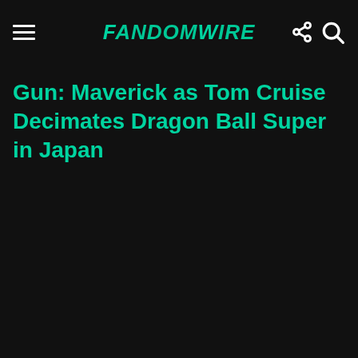FandomWire
Gun: Maverick as Tom Cruise Decimates Dragon Ball Super in Japan